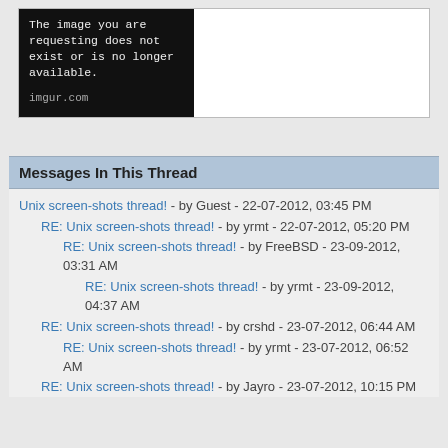[Figure (screenshot): Black box showing imgur.com 'image not available' error message]
Messages In This Thread
Unix screen-shots thread! - by Guest - 22-07-2012, 03:45 PM
RE: Unix screen-shots thread! - by yrmt - 22-07-2012, 05:20 PM
RE: Unix screen-shots thread! - by FreeBSD - 23-09-2012, 03:31 AM
RE: Unix screen-shots thread! - by yrmt - 23-09-2012, 04:37 AM
RE: Unix screen-shots thread! - by crshd - 23-07-2012, 06:44 AM
RE: Unix screen-shots thread! - by yrmt - 23-07-2012, 06:52 AM
RE: Unix screen-shots thread! - by Jayro - 23-07-2012, 10:15 PM